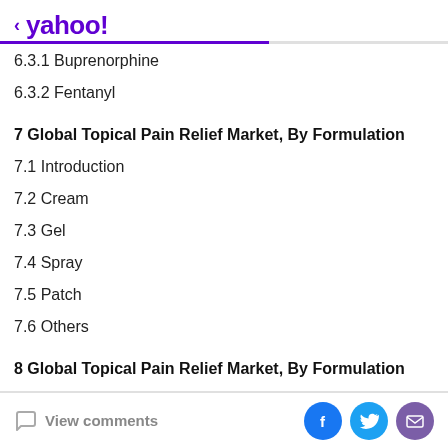< yahoo!
6.3.1 Buprenorphine
6.3.2 Fentanyl
7 Global Topical Pain Relief Market, By Formulation
7.1 Introduction
7.2 Cream
7.3 Gel
7.4 Spray
7.5 Patch
7.6 Others
8 Global Topical Pain Relief Market, By Formulation
8.1 Introduction
View comments